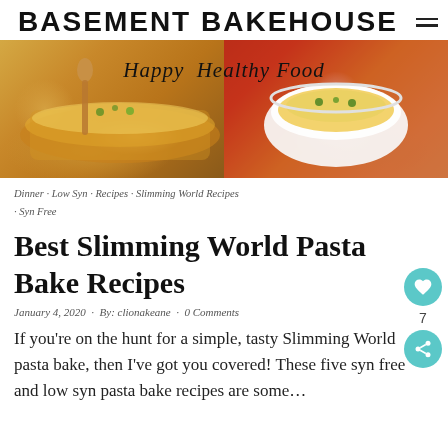BASEMENT BAKEHOUSE
[Figure (photo): Hero banner with two food photos showing pasta bake dishes, overlaid with handwritten-style script 'Happy Healthy Food']
Dinner · Low Syn · Recipes · Slimming World Recipes · Syn Free
Best Slimming World Pasta Bake Recipes
January 4, 2020 · By: clionakeane · 0 Comments
If you're on the hunt for a simple, tasty Slimming World pasta bake, then I've got you covered! These five syn free and low syn pasta bake recipes are some...